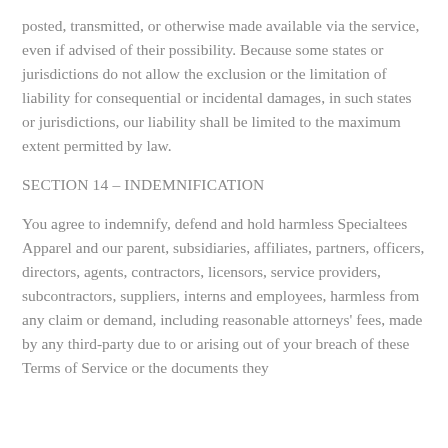posted, transmitted, or otherwise made available via the service, even if advised of their possibility. Because some states or jurisdictions do not allow the exclusion or the limitation of liability for consequential or incidental damages, in such states or jurisdictions, our liability shall be limited to the maximum extent permitted by law.
SECTION 14 – INDEMNIFICATION
You agree to indemnify, defend and hold harmless Specialtees Apparel and our parent, subsidiaries, affiliates, partners, officers, directors, agents, contractors, licensors, service providers, subcontractors, suppliers, interns and employees, harmless from any claim or demand, including reasonable attorneys' fees, made by any third-party due to or arising out of your breach of these Terms of Service or the documents they